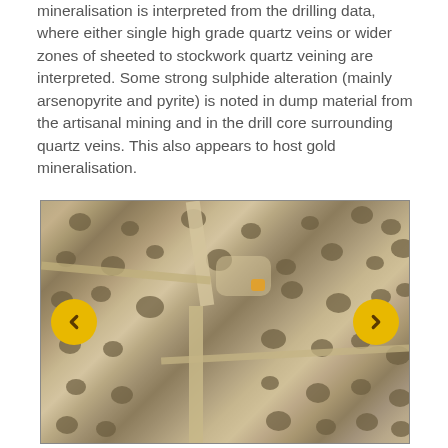mineralisation is interpreted from the drilling data, where either single high grade quartz veins or wider zones of sheeted to stockwork quartz veining are interpreted.  Some strong sulphide alteration (mainly arsenopyrite and pyrite) is noted in dump material from the artisanal mining and in the drill core surrounding quartz veins.  This also appears to host gold mineralisation.
[Figure (photo): Aerial satellite photograph of a semi-arid terrain showing sparse vegetation, exposed soil/rock, and trail or road patterns crossing the landscape. Navigation arrows (yellow left and right chevron buttons) are overlaid on the left and right sides of the image.]